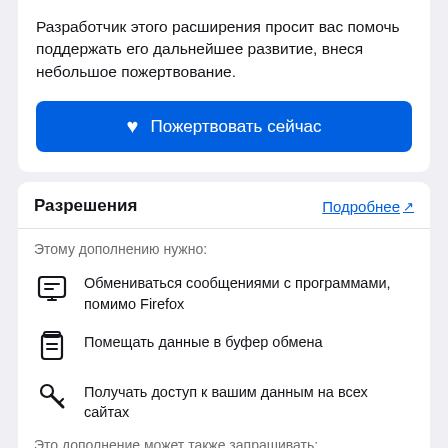Разработчик этого расширения просит вас помочь поддержать его дальнейшее развитие, внеся небольшое пожертвование.
[Figure (other): Blue donate button with heart icon and text 'Пожертвовать сейчас']
Разрешения
Подробнее ↗
Этому дополнению нужно:
Обмениваться сообщениями с программами, помимо Firefox
Помещать данные в буфер обмена
Получать доступ к вашим данным на всех сайтах
Это дополнение может также запрашивать: